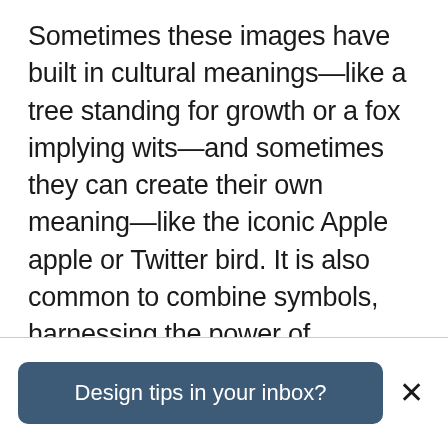Sometimes these images have built in cultural meanings—like a tree standing for growth or a fox implying wits—and sometimes they can create their own meaning—like the iconic Apple apple or Twitter bird. It is also common to combine symbols, harnessing the power of compound meanings or creating a visual pun. Whatever your approach, it is important to familiarize yourself with the underlying symbolism to make sure the logo is communicating the traits that you intend.
Design tips in your inbox?